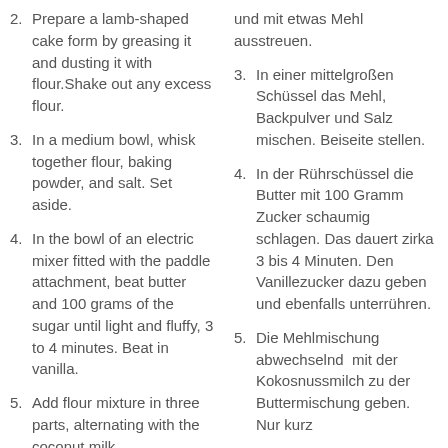2. Prepare a lamb-shaped cake form by greasing it and dusting it with flour.Shake out any excess flour.
3. In a medium bowl, whisk together flour, baking powder, and salt. Set aside.
4. In the bowl of an electric mixer fitted with the paddle attachment, beat butter and 100 grams of the sugar until light and fluffy, 3 to 4 minutes. Beat in vanilla.
5. Add flour mixture in three parts, alternating with the coconut milk
und mit etwas Mehl ausstreuen.
3. In einer mittelgroßen Schüssel das Mehl, Backpulver und Salz mischen. Beiseite stellen.
4. In der Rührschüssel die Butter mit 100 Gramm Zucker schaumig schlagen. Das dauert zirka 3 bis 4 Minuten. Den Vanillezucker dazu geben und ebenfalls unterrühren.
5. Die Mehlmischung abwechselnd  mit der Kokosnussmilch zu der Buttermischung geben. Nur kurz